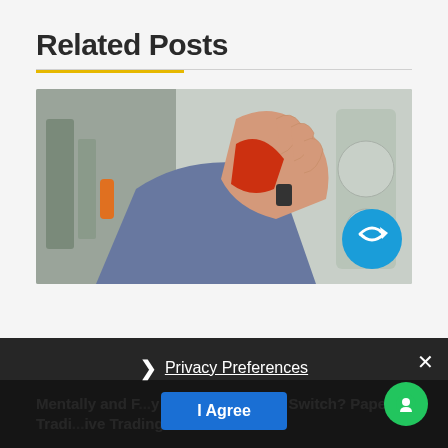Related Posts
[Figure (photo): A hand gripping a red tool handle, with industrial machinery in the background. An overlay navigation badge (blue circular arrow icon) is visible in the bottom right of the image.]
Mentally and Financially Ready to Flip the Switch? Paper Trading vs. Live Trading Accounts
Privacy Preferences
I Agree